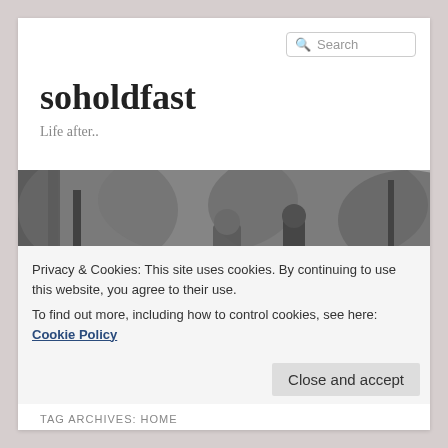soholdfast
Life after..
[Figure (photo): Black and white photograph of a family with two adults and children standing in a wooded outdoor area]
Privacy & Cookies: This site uses cookies. By continuing to use this website, you agree to their use.
To find out more, including how to control cookies, see here: Cookie Policy
Close and accept
TAG ARCHIVES: HOME